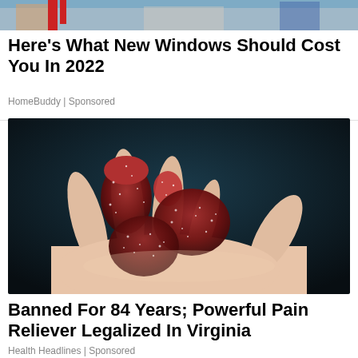[Figure (photo): Partial banner/header image with colorful background suggesting outdoor/sports scene]
Here's What New Windows Should Cost You In 2022
HomeBuddy | Sponsored
[Figure (photo): Close-up photo of a hand holding several dark red sugar-coated gummy candies against a dark background]
Banned For 84 Years; Powerful Pain Reliever Legalized In Virginia
Health Headlines | Sponsored